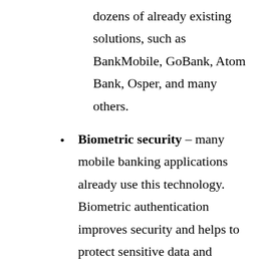dozens of already existing solutions, such as BankMobile, GoBank, Atom Bank, Osper, and many others.
Biometric security – many mobile banking applications already use this technology. Biometric authentication improves security and helps to protect sensitive data and comply with financial regulations. Face and voice